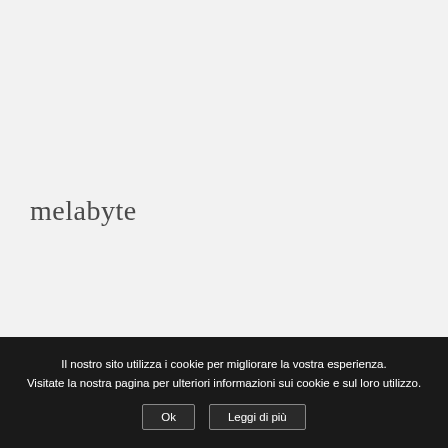melabyte
Il nostro sito utilizza i cookie per migliorare la vostra esperienza. Visitate la nostra pagina per ulteriori informazioni sui cookie e sul loro utilizzo.
Ok
Leggi di più